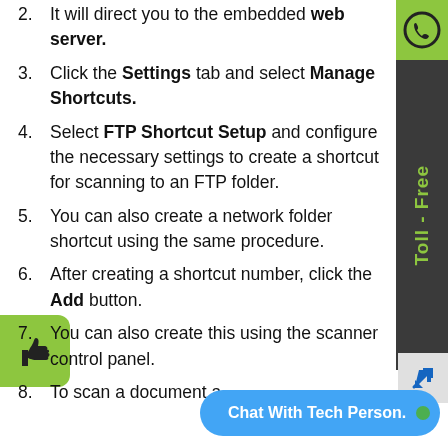2. It will direct you to the embedded web server.
3. Click the Settings tab and select Manage Shortcuts.
4. Select FTP Shortcut Setup and configure the necessary settings to create a shortcut for scanning to an FTP folder.
5. You can also create a network folder shortcut using the same procedure.
6. After creating a shortcut number, click the Add button.
7. You can also create this using the scanner control panel.
8. To scan a document a…